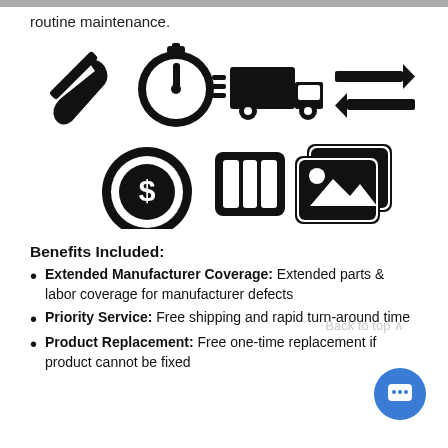routine maintenance.
[Figure (illustration): Six black icons: tools cross, stopwatch, delivery truck, two-way arrows, dollar coin, first aid badge, and photo gallery]
Benefits Included:
Extended Manufacturer Coverage: Extended parts & labor coverage for manufacturer defects
Priority Service: Free shipping and rapid turn-around time
Product Replacement: Free one-time replacement if product cannot be fixed